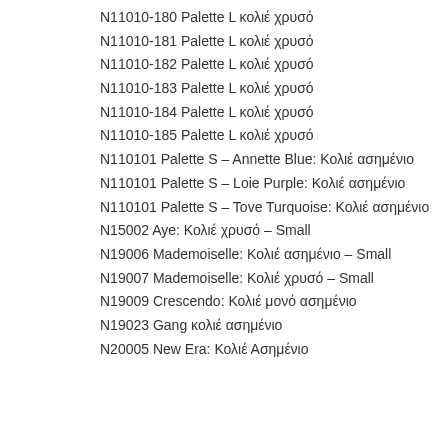N11010-180 Palette L κολιέ χρυσό
N11010-181 Palette L κολιέ χρυσό
N11010-182 Palette L κολιέ χρυσό
N11010-183 Palette L κολιέ χρυσό
N11010-184 Palette L κολιέ χρυσό
N11010-185 Palette L κολιέ χρυσό
N110101 Palette S – Annette Blue: Κολιέ ασημένιο
N110101 Palette S – Loie Purple: Κολιέ ασημένιο
N110101 Palette S – Tove Turquoise: Κολιέ ασημένιο
N15002 Aye: Κολιέ χρυσό – Small
N19006 Mademoiselle: Κολιέ ασημένιο – Small
N19007 Mademoiselle: Κολιέ χρυσό – Small
N19009 Crescendo: Κολιέ μονό ασημένιο
N19023 Gang κολιέ ασημένιο
N20005 New Era: Κολιέ Ασημένιο